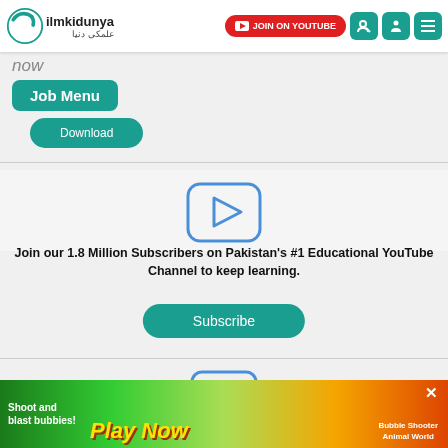ilmkidunya — JOIN ON YOUTUBE
now
Job Menu
Download
[Figure (illustration): YouTube-style rounded rectangle icon with play button triangle, in blue outline]
Join our 1.8 Million Subscribers on Pakistan's #1 Educational YouTube Channel to keep learning.
Subscribe
[Figure (illustration): Facebook logo icon — letter f in blue outline rounded square]
[Figure (illustration): Advertisement banner for bubble shooter game — Play Now with colorful game graphics]